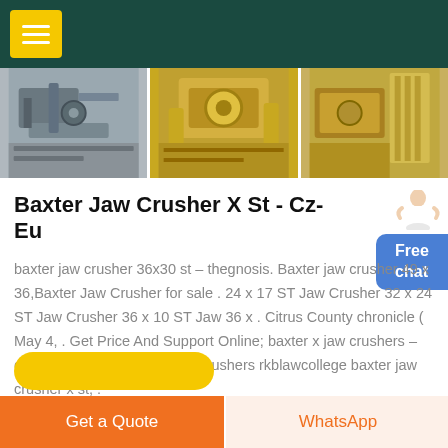[Figure (screenshot): Dark green navigation header bar with yellow hamburger menu button in top left corner]
[Figure (photo): Three side-by-side photos of industrial jaw crusher machinery equipment]
Baxter Jaw Crusher X St - Cz-Eu
[Figure (illustration): Blue Free chat button with person illustration on right side]
baxter jaw crusher 36x30 st – thegnosis. Baxter jaw crusher 49 x 36,Baxter Jaw Crusher for sale . 24 x 17 ST Jaw Crusher 32 x 24 ST Jaw Crusher 36 x 10 ST Jaw 36 x . Citrus County chronicle ( May 4, . Get Price And Support Online; baxter x jaw crushers – concertinacoils. baxter x jaw crushers rkblawcollege baxter jaw crusher x st, .
Get a Quote
WhatsApp